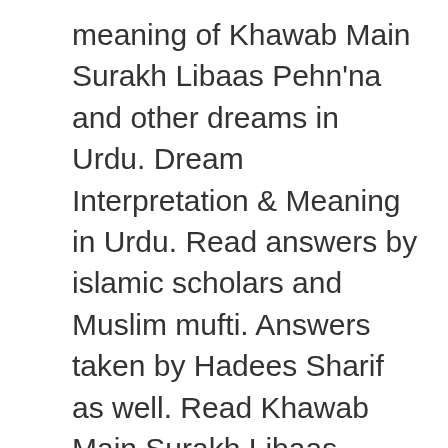meaning of Khawab Main Surakh Libaas Pehn'na and other dreams in Urdu. Dream Interpretation & Meaning in Urdu. Read answers by islamic scholars and Muslim mufti. Answers taken by Hadees Sharif as well. Read Khawab Main Surakh Libaas … Read more
Khwab KI Tabeer, Khwab Ki Tabeer Seen
khwab ki tabeer saanp dekhna, khwab ki tabeer saanp dekhna in urdu, khwab ki tabeer saanp ka katna,